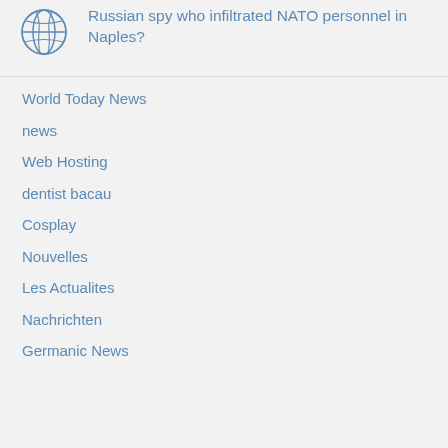[Figure (illustration): Blue globe/world icon outline]
Russian spy who infiltrated NATO personnel in Naples?
World Today News
news
Web Hosting
dentist bacau
Cosplay
Nouvelles
Les Actualites
Nachrichten
Germanic News